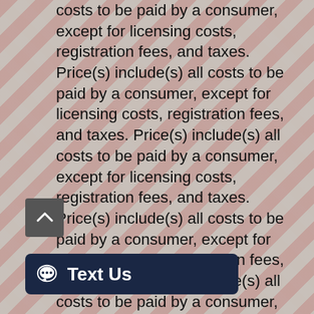costs to be paid by a consumer, except for licensing costs, registration fees, and taxes. Price(s) include(s) all costs to be paid by a consumer, except for licensing costs, registration fees, and taxes. Price(s) include(s) all costs to be paid by a consumer, except for licensing costs, registration fees, and taxes. Price(s) include(s) all costs to be paid by a consumer, except for licensing costs, registration fees, and taxes. Price(s) include(s) all costs to be paid by a consumer, except for licensing costs, registration fees, and taxes. Price(s) include(s) all costs to be paid by a consumer, except for licensing costs, registration fees, and taxes. Price(s) include(s) all costs to be paid by a consumer, except for licensing costs, registration fees, and taxes. Price(s) include(s) all costs to be paid by a consumer, except for licensing
[Figure (other): Scroll-to-top button (dark grey square with white upward chevron arrow)]
[Figure (other): Chat button: dark navy rounded rectangle with speech bubble icon and 'Text Us' label in white]